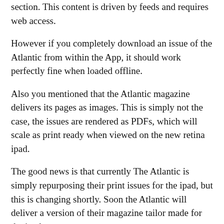section. This content is driven by feeds and requires web access.
However if you completely download an issue of the Atlantic from within the App, it should work perfectly fine when loaded offline.
Also you mentioned that the Atlantic magazine delivers its pages as images. This is simply not the case, the issues are rendered as PDFs, which will scale as print ready when viewed on the new retina ipad.
The good news is that currently The Atlantic is simply repurposing their print issues for the ipad, but this is changing shortly. Soon the Atlantic will deliver a version of their magazine tailor made for the ipad.
I do hope you revisit the App at that point and